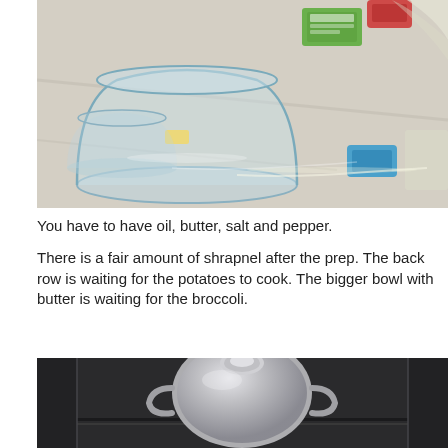[Figure (photo): Kitchen counter with glass bowls (one containing a pat of butter), food packages including a green box and red bag, and plastic wrap scattered on a white marble-like surface.]
You have to have oil, butter, salt and pepper.
There is a fair amount of shrapnel after the prep. The back row is waiting for the potatoes to cook. The bigger bowl with butter is waiting for the broccoli.
[Figure (photo): Close-up of a shiny silver/stainless steel pot or kettle lid and handle, inside what appears to be an oven or dark appliance interior.]